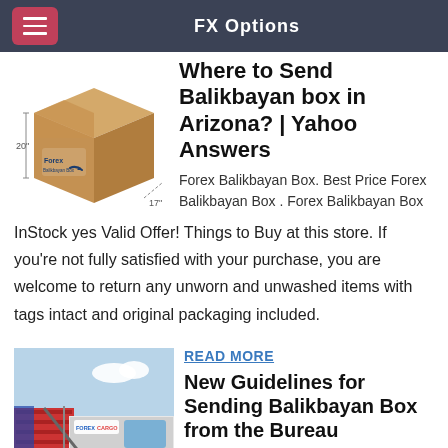FX Options
[Figure (photo): Forex branded cardboard box/balikbayan box with '20"' and '17"' dimension labels]
Where to Send Balikbayan box in Arizona? | Yahoo Answers
Forex Balikbayan Box. Best Price Forex Balikbayan Box . Forex Balikbayan Box InStock yes Valid Offer! Things to Buy at this store. If you're not fully satisfied with your purchase, you are welcome to return any unworn and unwashed items with tags intact and original packaging included.
READ MORE
[Figure (photo): Forex Cargo truck with shipping containers, loading dock scene]
New Guidelines for Sending Balikbayan Box from the Bureau
Forex Cargo is a licensed and bonded Ocean Transport Intermediary, Non-Vessel Operating Common